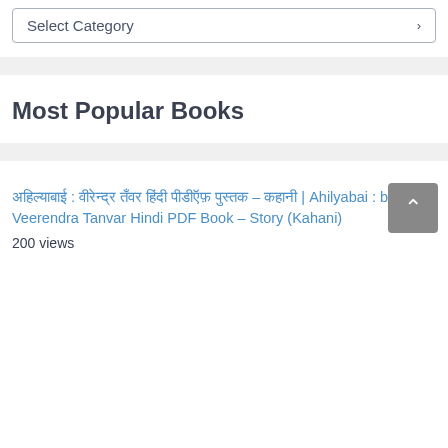Select Category
Most Popular Books
अहिल्याबाई : वीरेन्द्र तँवर हिंदी पीडीऍफ़ पुस्तक – कहानी | Ahilyabai : by Veerendra Tanvar Hindi PDF Book – Story (Kahani)
200 views